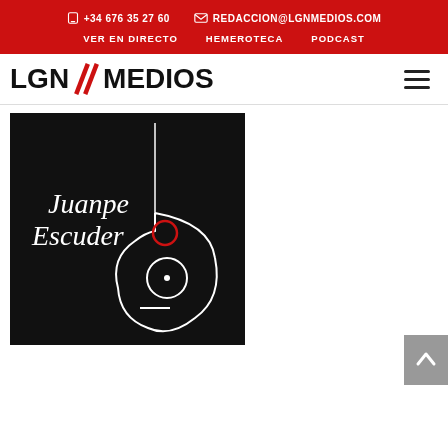+34 676 35 27 60   REDACCION@LGNMEDIOS.COM   VER EN DIRECTO   HEMEROTECA   PODCAST
LGN MEDIOS
[Figure (logo): Black background image with white text 'Juanpe Escudero' and a guitar silhouette outline on the right side. The logo/branding image for Juanpe Escudero.]